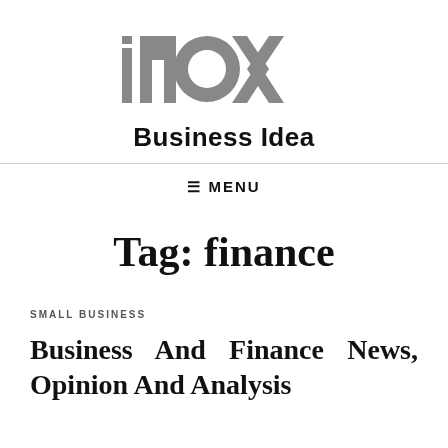[Figure (logo): iNOX Business Idea logo — large stylized grey letters 'iNOX' with 'Business Idea' text below in bold black]
≡ MENU
Tag: finance
SMALL BUSINESS
Business And Finance News, Opinion And Analysis